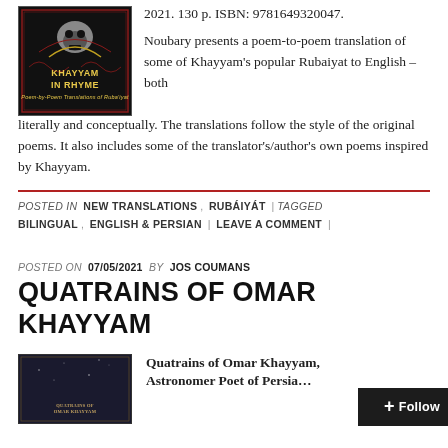[Figure (photo): Book cover of 'Khayyam in Rhyme' with dark background and decorative skull/rhyme imagery]
2021. 130 p. ISBN: 9781649320047.

Noubary presents a poem-to-poem translation of some of Khayyam's popular Rubaiyat to English – both literally and conceptually. The translations follow the style of the original poems. It also includes some of the translator's/author's own poems inspired by Khayyam.
POSTED IN  NEW TRANSLATIONS ,  RUBÁIYÁT  |  TAGGED  BILINGUAL ,  ENGLISH & PERSIAN  |  LEAVE A COMMENT  |
POSTED ON  07/05/2021  BY  JOS COUMANS
QUATRAINS OF OMAR KHAYYAM
[Figure (photo): Book cover of 'Quatrains of Omar Khayyam' with dark blue background]
Quatrains of Omar Khayyam, Astronomer Poet of Persia…